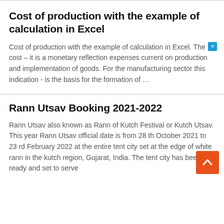Cost of production with the example of calculation in Excel
Cost of production with the example of calculation in Excel. The cost – it is a monetary reflection expenses current on production and implementation of goods. For the manufacturing sector this indication - is the basis for the formation of …
Rann Utsav Booking 2021-2022
Rann Utsav also known as Rann of Kutch Festival or Kutch Utsav. This year Rann Utsav official date is from 28 th October 2021 to 23 rd February 2022 at the entire tent city set at the edge of white rann in the kutch region, Gujarat, India. The tent city has been all ready and set to serve …